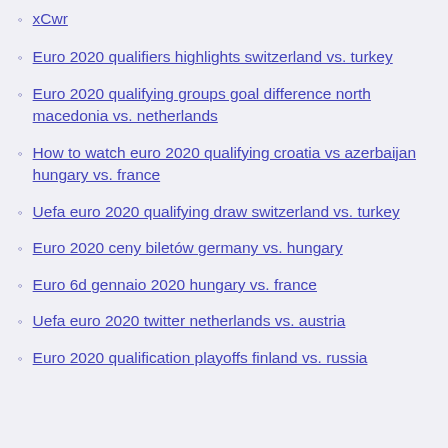xCwr
Euro 2020 qualifiers highlights switzerland vs. turkey
Euro 2020 qualifying groups goal difference north macedonia vs. netherlands
How to watch euro 2020 qualifying croatia vs azerbaijan hungary vs. france
Uefa euro 2020 qualifying draw switzerland vs. turkey
Euro 2020 ceny biletów germany vs. hungary
Euro 6d gennaio 2020 hungary vs. france
Uefa euro 2020 twitter netherlands vs. austria
Euro 2020 qualification playoffs finland vs. russia